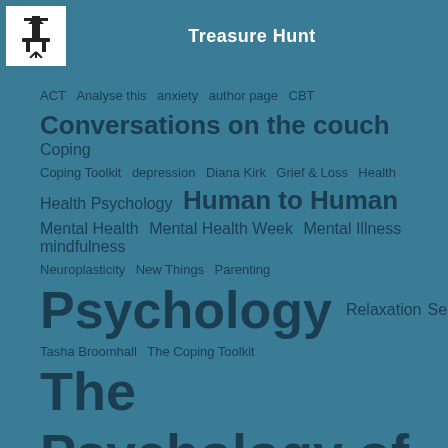Treasure Hunt
ACT  Analyse this  anxiety  author page  CBT
Conversations on the couch  Coping
Coping Toolkit  depression  Diana Kirk  Grief & Loss  Health
Health Psychology  Human to Human
Mental Health  Mental Health Week  Mental Illness  mindfulness
Neuroplasticity  New Things  Parenting
Psychology  Relaxation  Selfcare
Tasha Broomhall  The Coping Toolkit
The Psychology of it